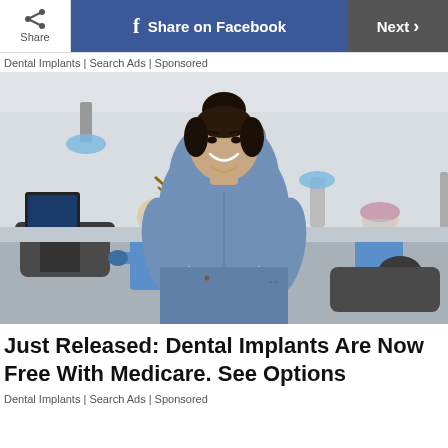Share | Share on Facebook | Next >
Dental Implants | Search Ads | Sponsored
[Figure (photo): A smiling woman in a blue medical scrub top stands in a dental clinic. In the background, dental professionals in blue scrubs and protective gear work with patients in dental chairs. The clinic has a modern interior with yellow accent walls and overhead dental lights.]
Just Released: Dental Implants Are Now Free With Medicare. See Options
Dental Implants | Search Ads | Sponsored